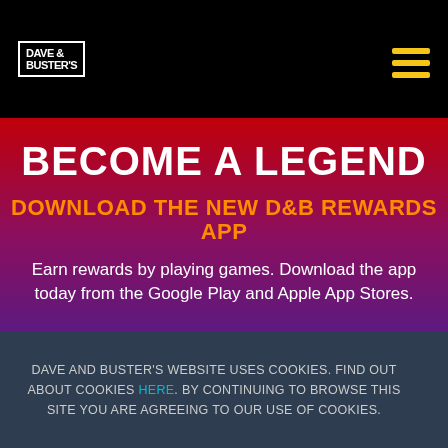DAVE & BUSTER'S
BECOME A LEGEND
DOWNLOAD THE NEW D&B REWARDS APP
Earn rewards by playing games. Download the app today from the Google Play and Apple App Stores.
DAVE AND BUSTER'S WEBSITE USES COOKIES. FIND OUT ABOUT COOKIES HERE. BY CONTINUING TO BROWSE THIS SITE YOU ARE AGREEING TO OUR USE OF COOKIES.